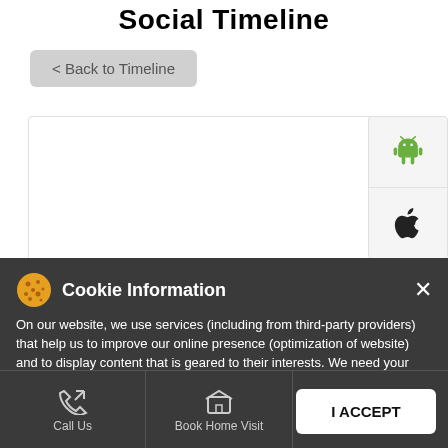Social Timeline
< Back to Timeline
[Figure (screenshot): Empty white content area box]
[Figure (logo): Android logo (green robot icon)]
[Figure (logo): Apple logo (black Apple icon)]
Cookie Information
On our website, we use services (including from third-party providers) that help us to improve our online presence (optimization of website) and to display content that is geared to their interests. We need your consent before being able to use these services.
I ACCEPT
Call Us
Book Home Visit
Directions